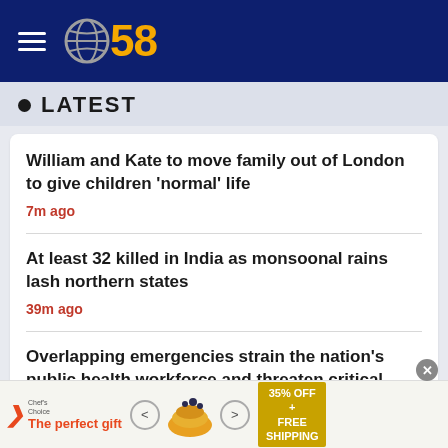CBS 58
LATEST
William and Kate to move family out of London to give children 'normal' life
7m ago
At least 32 killed in India as monsoonal rains lash northern states
39m ago
Overlapping emergencies strain the nation's public health workforce and threaten critical vaccination campaigns